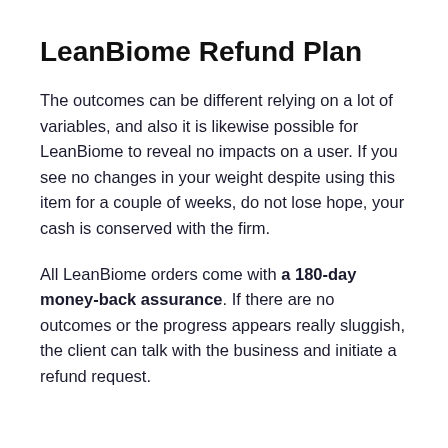LeanBiome Refund Plan
The outcomes can be different relying on a lot of variables, and also it is likewise possible for LeanBiome to reveal no impacts on a user. If you see no changes in your weight despite using this item for a couple of weeks, do not lose hope, your cash is conserved with the firm.
All LeanBiome orders come with a 180-day money-back assurance. If there are no outcomes or the progress appears really sluggish, the client can talk with the business and initiate a refund request.